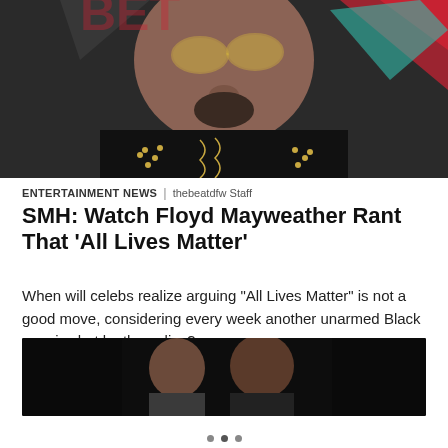[Figure (photo): Close-up photo of a man wearing gold-tinted round sunglasses and a black studded/laced jacket, at what appears to be an awards event with red and teal decorative elements in the background.]
ENTERTAINMENT NEWS | thebeatdfw Staff
SMH: Watch Floyd Mayweather Rant That ‘All Lives Matter’
When will celebs realize arguing "All Lives Matter" is not a good move, considering every week another unarmed Black man is shot by the police?
[Figure (photo): Dark photo of two people (a woman and a man) visible from about shoulder-up against a very dark/black background.]